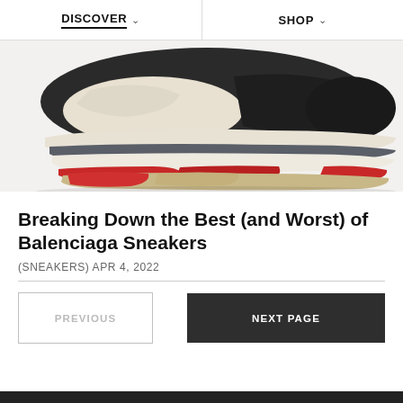DISCOVER   SHOP
[Figure (photo): Close-up side view of a Balenciaga Triple S sneaker with chunky stacked sole in black, white, red, and beige/tan colors on a light background.]
Breaking Down the Best (and Worst) of Balenciaga Sneakers
(SNEAKERS) APR 4, 2022
PREVIOUS
NEXT PAGE